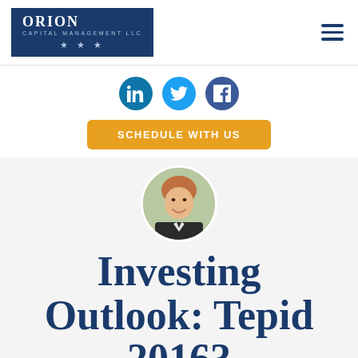Orion Capital Management LLC
[Figure (logo): Orion Capital Management LLC logo — dark navy blue rectangle with ORION in large serif type, 'Capital Management LLC' subtitle, and three stars below]
[Figure (infographic): Three social media icons: LinkedIn (blue circle), Twitter (cyan circle), Facebook (dark blue circle)]
[Figure (other): Orange rounded rectangle button labeled SCHEDULE WITH US]
[Figure (photo): Circular cropped headshot of a smiling man with reddish hair wearing a dark suit and tie, outdoors]
Investing Outlook: Tepid 2016?